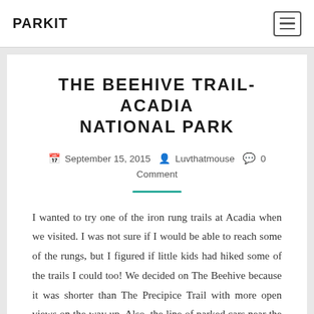PARKIT
THE BEEHIVE TRAIL-ACADIA NATIONAL PARK
September 15, 2015  Luvthatmouse  0 Comment
I wanted to try one of the iron rung trails at Acadia when we visited. I was not sure if I would be able to reach some of the rungs, but I figured if little kids had hiked some of the trails I could too! We decided on The Beehive because it was shorter than The Precipice Trail with more open views on the way up. Also, the line of parked cars near the Precipice was